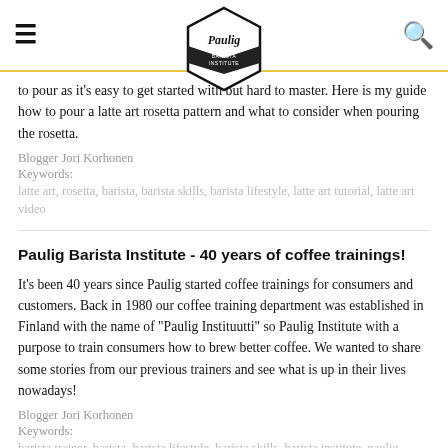Paulig Barista Institute
to pour as it's easy to get started with but hard to master. Here is my guide how to pour a latte art rosetta pattern and what to consider when pouring the rosetta.
Blogger Jori Korhonen
Keywords:
latte art, rosetta, barista, barista skills, barista lifestyle, latte art tutorial, latte art video
Paulig Barista Institute - 40 years of coffee trainings!
It's been 40 years since Paulig started coffee trainings for consumers and customers. Back in 1980 our coffee training department was established in Finland with the name of "Paulig Instituutti" so Paulig Institute with a purpose to train consumers how to brew better coffee. We wanted to share some stories from our previous trainers and see what is up in their lives nowadays!
Blogger Jori Korhonen
Keywords:
barista trainer, barista, barista lifestyle, barista skills, barista institute, paulig